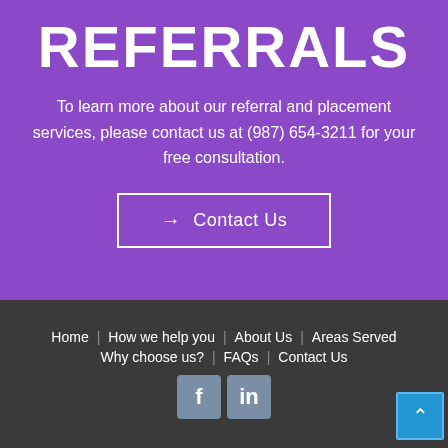REFERRALS
To learn more about our referral and placement services, please contact us at (987) 654-3211 for your free consultation.
→ Contact Us
Home | How we help you | About Us | Areas Served | Why choose us? | FAQs | Contact Us